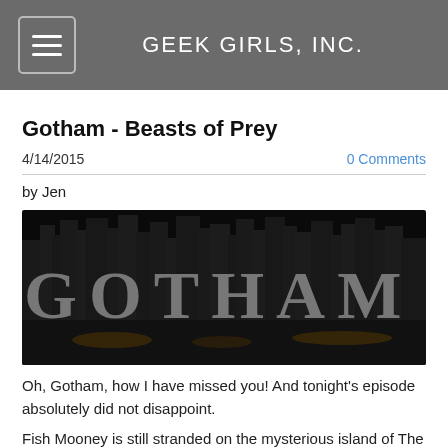GEEK GIRLS, INC.
Gotham - Beasts of Prey
4/14/2015
0 Comments
by Jen
[Figure (photo): The Gotham TV show title card showing large stone letters spelling GOTHAM against a dark city skyline background]
Oh, Gotham, how I have missed you!  And tonight's episode absolutely did not disappoint.
Fish Mooney is still stranded on the mysterious island of The Dollmaker (Dr. Dulmacher, whatever), but she is actively plotting her